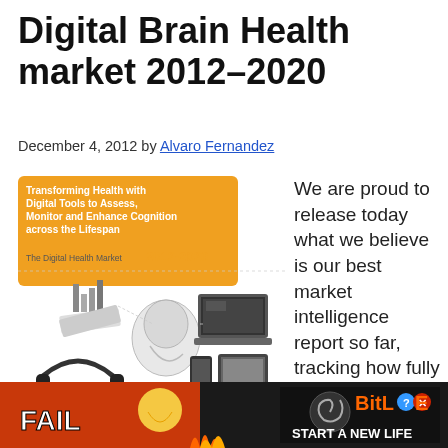Digital Brain Health market 2012–2020
December 4, 2012 by Alvaro Fernandez
[Figure (illustration): Cover of the Digital Brain Health Market report 2012-2020 showing an illustration with brain, laptop, tablet, smartphone, headphones, and bar charts. Title reads: Transforming Health with Digital Tools to Assess, Monitor and Enhance Cognition across the Lifespan. The Digital Health Market 2012-2020.]
We are proud to release today what we believe is our best market intelligence report so far, tracking how fully automated applications designed to assess, monitor and/ or enhance
[Figure (screenshot): Advertisement banner: BitLife - FAIL - START A NEW LIFE game ad with fire and cartoon character, with a Close X button overlay]